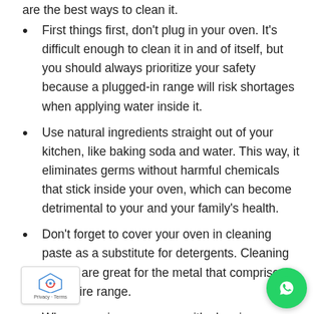are the best ways to clean it.
First things first, don't plug in your oven. It's difficult enough to clean it in and of itself, but you should always prioritize your safety because a plugged-in range will risk shortages when applying water inside it.
Use natural ingredients straight out of your kitchen, like baking soda and water. This way, it eliminates germs without harmful chemicals that stick inside your oven, which can become detrimental to your and your family's health.
Don't forget to cover your oven in cleaning paste as a substitute for detergents. Cleaning pastes are great for the metal that comprises the entire range.
When covering your oven with cleaning